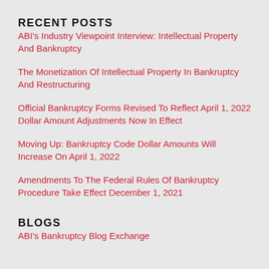RECENT POSTS
ABI's Industry Viewpoint Interview: Intellectual Property And Bankruptcy
The Monetization Of Intellectual Property In Bankruptcy And Restructuring
Official Bankruptcy Forms Revised To Reflect April 1, 2022 Dollar Amount Adjustments Now In Effect
Moving Up: Bankruptcy Code Dollar Amounts Will Increase On April 1, 2022
Amendments To The Federal Rules Of Bankruptcy Procedure Take Effect December 1, 2021
BLOGS
ABI's Bankruptcy Blog Exchange